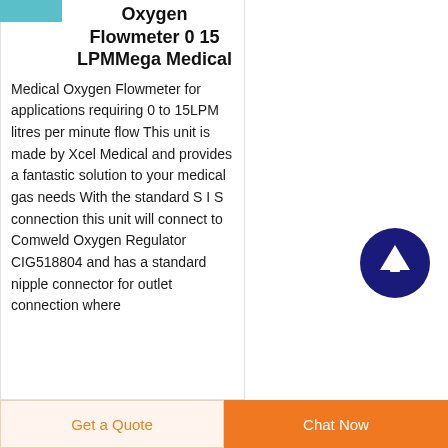[Figure (photo): Small product image thumbnail in teal/cyan color at top left]
Oxygen Flowmeter 0 15 LPMMega Medical
Medical Oxygen Flowmeter for applications requiring 0 to 15LPM litres per minute flow This unit is made by Xcel Medical and provides a fantastic solution to your medical gas needs With the standard S I S connection this unit will connect to Comweld Oxygen Regulator CIG518804 and has a standard nipple connector for outlet connection where
[Figure (other): Dark navy blue circular scroll-to-top button with upward arrow icon]
Get a Quote
Chat Now